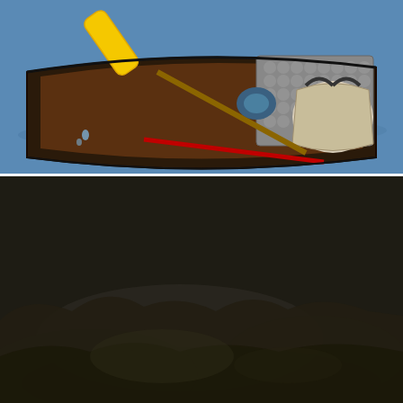[Figure (photo): Overhead view of a canoe on water with a yellow paddle, red paddle, gear bags and foam padding visible inside the canoe. A person in dark clothing is seated at the back.]
[Figure (screenshot): Dark video player screen showing a media load error message: 'The media could not be loaded, either because the server or network failed or because the format is not supported.' The background shows a dark, murky water or cave scene.]